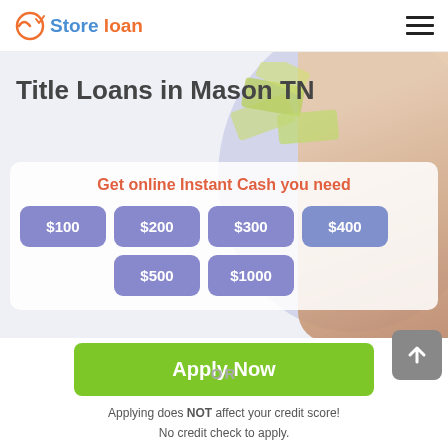Store loan
Title Loans in Mason TN
Get online Instant Cash you need
$100
$200
$300
$400
$500
$1000
OR
Apply Now
Applying does NOT affect your credit score!
No credit check to apply.